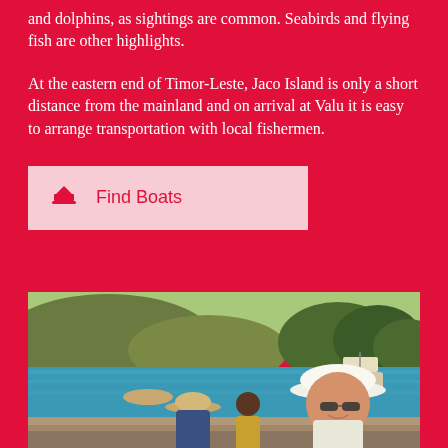and dolphins, as sightings are common. Seabirds and flying fish are other highlights.
At the eastern end of Timor-Leste, Jaco Island is only a short distance from the mainland and on arrival at Valu it is easy to arrange transportation with local fishermen.
Find Boats
[Figure (photo): Photo of people on a boat near a coastal village with a woman in a white hat and sunglasses smiling in the foreground, with hills, trees, and water in the background at Valu, Timor-Leste.]